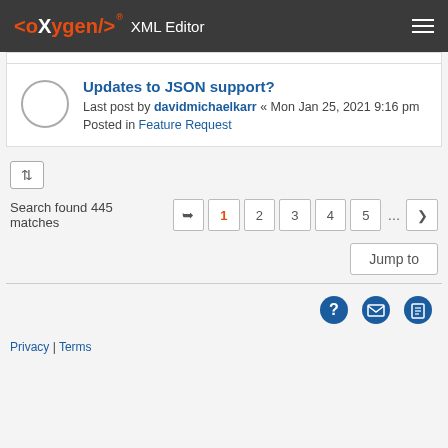<oxygen/> XML Editor
Updates to JSON support?
Last post by davidmichaelkarr « Mon Jan 25, 2021 9:16 pm
Posted in Feature Request
Search found 445 matches
Jump to
Privacy | Terms